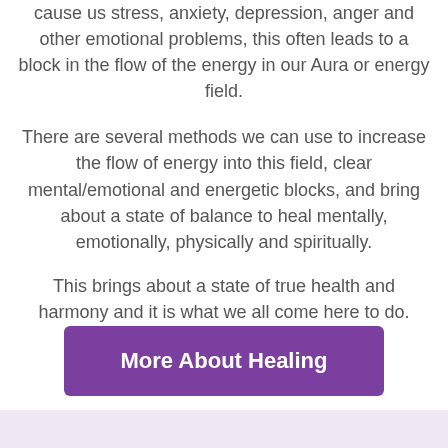cause us stress, anxiety, depression, anger and other emotional problems, this often leads to a block in the flow of the energy in our Aura or energy field.
There are several methods we can use to increase the flow of energy into this field, clear mental/emotional and energetic blocks, and bring about a state of balance to heal mentally, emotionally, physically and spiritually.
This brings about a state of true health and harmony and it is what we all come here to do.
[Figure (other): Purple button labeled 'More About Healing']